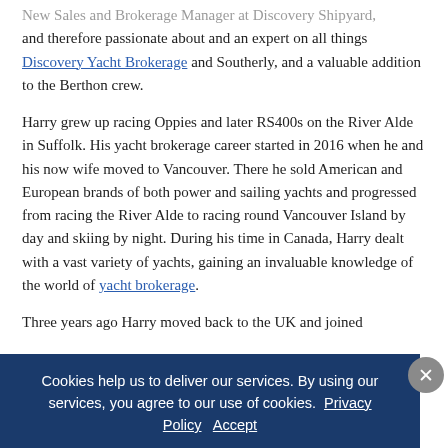New Sales and Brokerage Manager at Discovery Shipyard, and therefore passionate about and an expert on all things Discovery Yacht Brokerage and Southerly, and a valuable addition to the Berthon crew.
Harry grew up racing Oppies and later RS400s on the River Alde in Suffolk. His yacht brokerage career started in 2016 when he and his now wife moved to Vancouver. There he sold American and European brands of both power and sailing yachts and progressed from racing the River Alde to racing round Vancouver Island by day and skiing by night. During his time in Canada, Harry dealt with a vast variety of yachts, gaining an invaluable knowledge of the world of yacht brokerage.
Three years ago Harry moved back to the UK and joined
Cookies help us to deliver our services. By using our services, you agree to our use of cookies. Privacy Policy Accept